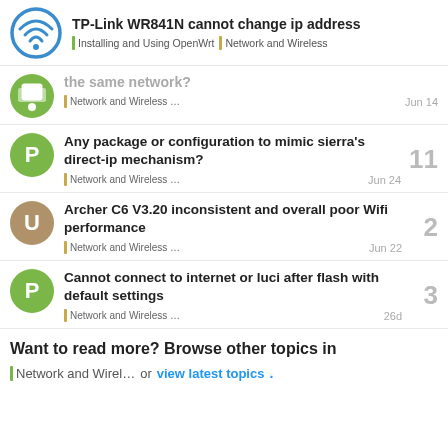TP-Link WR841N cannot change ip address | Installing and Using OpenWrt | Network and Wireless
the same network?
Network and Wireless ... Jun 14
Any package or configuration to mimic sierra's direct-ip mechanism?
Network and Wireless ... Jun 24 | 11
Archer C6 V3.20 inconsistent and overall poor Wifi performance
Network and Wireless ... Jun 22 | 2
Cannot connect to internet or luci after flash with default settings
Network and Wireless ... 26d | 3
Want to read more? Browse other topics in Network and Wirel... or view latest topics.